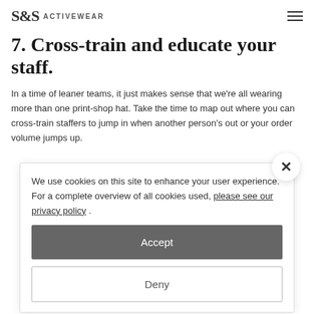S&S ACTIVEWEAR
7. Cross-train and educate your staff.
In a time of leaner teams, it just makes sense that we're all wearing more than one print-shop hat. Take the time to map out where you can cross-train staffers to jump in when another person's out or your order volume jumps up.
We use cookies on this site to enhance your user experience.
For a complete overview of all cookies used, please see our privacy policy .
Accept
Deny